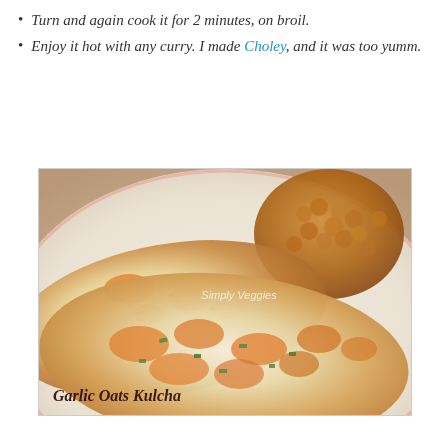Turn and again cook it for 2 minutes, on broil.
Enjoy it hot with any curry. I made Choley, and it was too yumm.
[Figure (photo): A plate with Garlic Oats Kulcha flatbreads topped with melted orange cheese and green herbs, served alongside chickpea curry (Choley). Watermark reads 'Simply Veggies'. Caption on image: Garlic Oats Kulcha.]